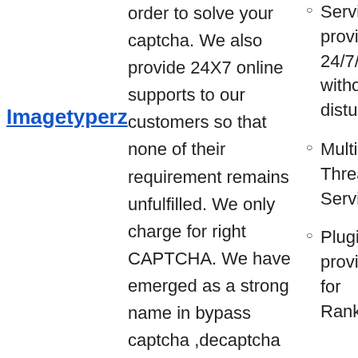Imagetyperz
order to solve your captcha. We also provide 24X7 online supports to our customers so that none of their requirement remains unfulfilled. We only charge for right CAPTCHA. We have emerged as a strong name in bypass captcha ,decaptcha and
Service is provided 24/7/365 without any disturbance
Multiple Thread Service
Plugins provided for RankerX,
m $0.65 per 1000 captchas